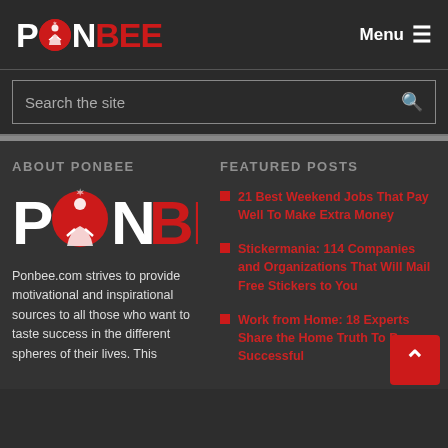PONBEE — Menu
Search the site
ABOUT PONBEE
[Figure (logo): PONBEE logo — large version with red circular icon and white/red text]
Ponbee.com strives to provide motivational and inspirational sources to all those who want to taste success in the different spheres of their lives. This
FEATURED POSTS
21 Best Weekend Jobs That Pay Well To Make Extra Money
Stickermania: 114 Companies and Organizations That Will Mail Free Stickers to You
Work from Home: 18 Experts Share the Ho... Truth To Be Successful